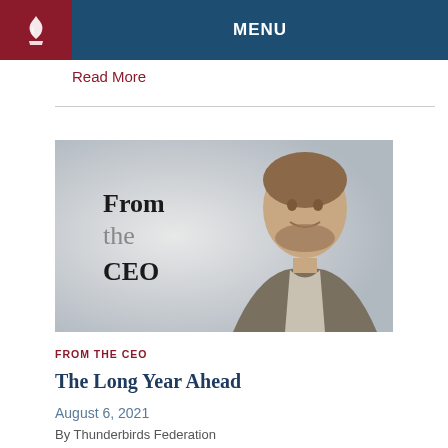MENU
Read More
[Figure (photo): CEO headshot banner image with text 'From the CEO' on the left side and a smiling man in a suit jacket on the right, against a gray gradient background.]
FROM THE CEO
The Long Year Ahead
August 6, 2021
By Thunderbirds Federation